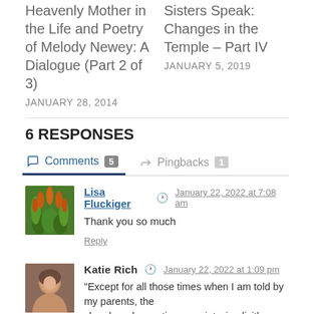Heavenly Mother in the Life and Poetry of Melody Newey: A Dialogue (Part 2 of 3)
JANUARY 28, 2014
Sisters Speak: Changes in the Temple – Part IV
JANUARY 5, 2019
6 RESPONSES
Comments 5   Pingbacks 1
Lisa Fluckiger   January 22, 2022 at 7:08 am
Thank you so much
Reply
Katie Rich   January 22, 2022 at 1:09 pm
"Except for all those times when I am told by my parents, the church and sometimes society, implicitly or bluntly, that I am